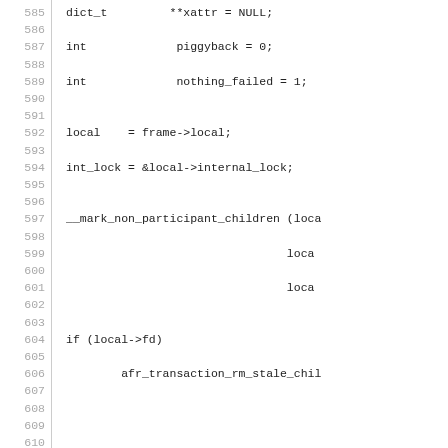Code listing lines 585–614 showing C source code with variable declarations, function calls including __mark_non_participant_children, afr_transaction_rm_stale_children, alloca, memset, dict_new, afr_changelog_post_op_ca, and afr_fd_ctx_get.